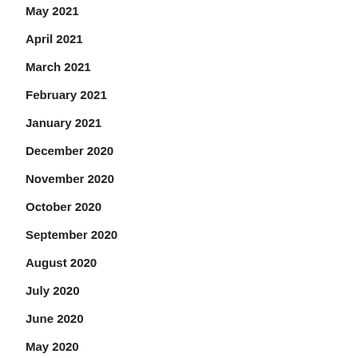May 2021
April 2021
March 2021
February 2021
January 2021
December 2020
November 2020
October 2020
September 2020
August 2020
July 2020
June 2020
May 2020
April 2020